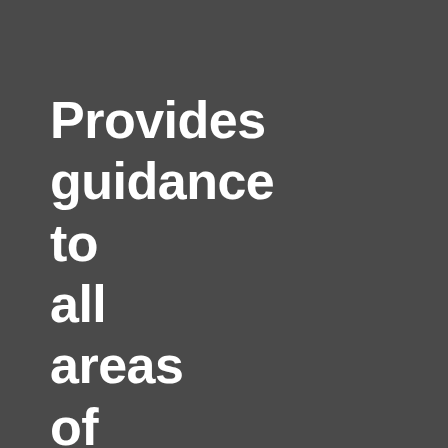Provides guidance to all areas of action in the process